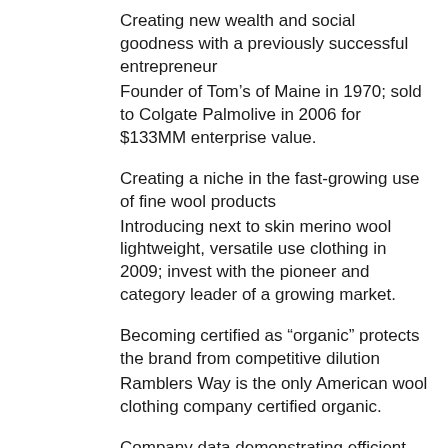Creating new wealth and social goodness with a previously successful entrepreneur
Founder of Tom's of Maine in 1970; sold to Colgate Palmolive in 2006 for $133MM enterprise value.
Creating a niche in the fast-growing use of fine wool products
Introducing next to skin merino wool lightweight, versatile use clothing in 2009; invest with the pioneer and category leader of a growing market.
Becoming certified as “organic” protects the brand from competitive dilution
Ramblers Way is the only American wool clothing company certified organic.
Company data demonstrating efficient and fast ramp up with cash for advertising
Company data shows cost of customer acquisition